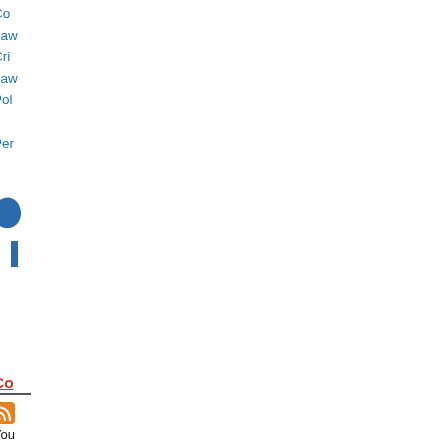Co
Law
Cri
Law
Pol
|
Per
[Figure (illustration): Large blue quotation mark / paragraph symbol icon followed by a blue vertical bar]
Co
You can foll this con by sub to the comments feed for this